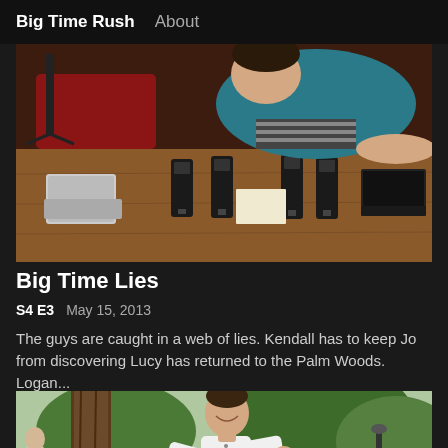Big Time Rush   About
[Figure (photo): Young man leaning over a wooden table covered with multiple walkie-talkies and radio equipment, wearing a teal jacket over a striped shirt. Camera equipment visible in background.]
Big Time Lies
S4 E3   May 15, 2013
The guys are caught in a web of lies. Kendall has to keep Jo from discovering Lucy has returned to the Palm Woods. Logan...
[Figure (photo): Young man in white polo shirt smiling outdoors near trees in a park-like setting, with another person visible in the background.]